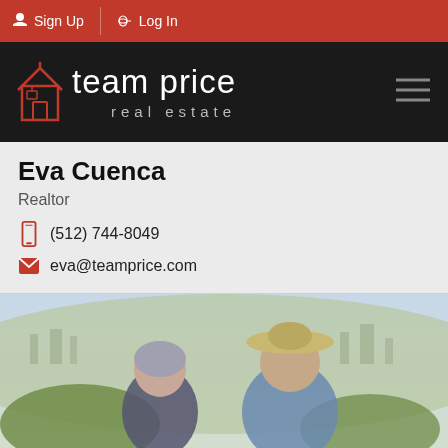Sign Up  Log In
[Figure (logo): Team Price Real Estate logo — house icon outline in red/orange on black background, with text 'team price real estate']
Eva Cuenca
Realtor
(512) 744-8049
eva@teamprice.com
[Figure (photo): Two people (a woman with short gray hair and a man wearing a straw hat and blue shirt) posing outdoors with a city panorama in the background]